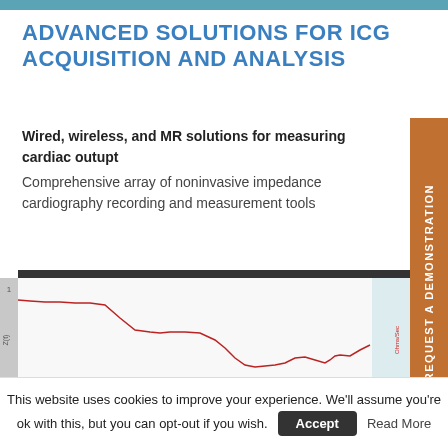ADVANCED SOLUTIONS FOR ICG ACQUISITION AND ANALYSIS
Wired, wireless, and MR solutions for measuring cardiac outupt
Comprehensive array of noninvasive impedance cardiography recording and measurement tools
[Figure (continuous-plot): ICG impedance cardiography waveform chart showing Z(t) signal in Ohms/Sec over time. The signal starts around 36.00, dips gradually, with values on y-axis: 36.25, 36.00, 35.75, 35.50. Y-axis label: Ohms/Sec. Row markers 1 and 3 visible on left.]
This website uses cookies to improve your experience. We'll assume you're ok with this, but you can opt-out if you wish.